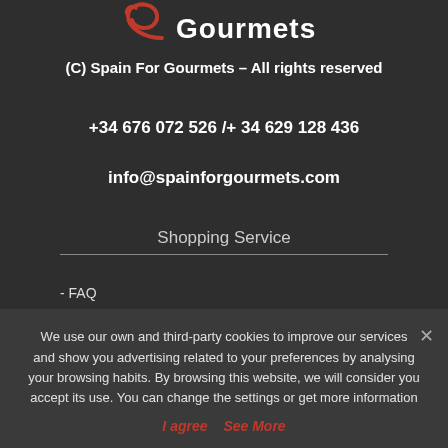[Figure (logo): Spain For Gourmets logo — red swirl and 'Gourmets' text in white handwritten font on dark background]
(C) Spain For Gourmets – All rights reserved
+34 676 072 526 /+ 34 629 128 436
info@spainforgourmets.com
Shopping Service
- FAQ
We use our own and third-party cookies to improve our services and show you advertising related to your preferences by analysing your browsing habits. By browsing this website, we will consider you accept its use. You can change the settings or get more information
I agree  See More